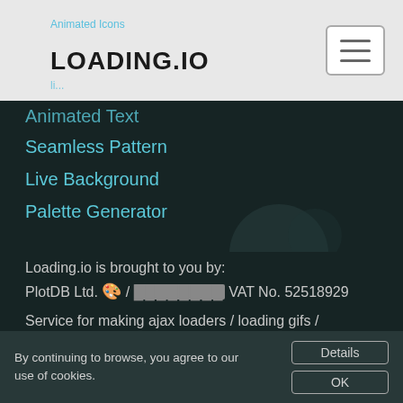LOADING.IO
Animated Icons
Animated Text
Seamless Pattern
Live Background
Palette Generator
Loading.io is brought to you by:
PlotDB Ltd. 🎨 / ████████ VAT No. 52518929
Service for making ajax loaders / loading gifs / preloaders and animated icons, live background, animated text in GIF / SVG / APNG / CSS.
✉ Customer Service: contact@loading.io
By continuing to browse, you agree to our use of cookies.